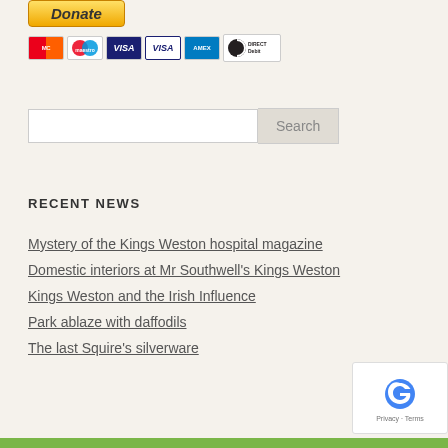[Figure (other): Donate button with PayPal styling and payment method icons (Mastercard, Maestro, Visa, Visa Electron, Amex, Direct Debit)]
Search
RECENT NEWS
Mystery of the Kings Weston hospital magazine
Domestic interiors at Mr Southwell's Kings Weston
Kings Weston and the Irish Influence
Park ablaze with daffodils
The last Squire's silverware
[Figure (other): reCAPTCHA widget with Privacy and Terms links]